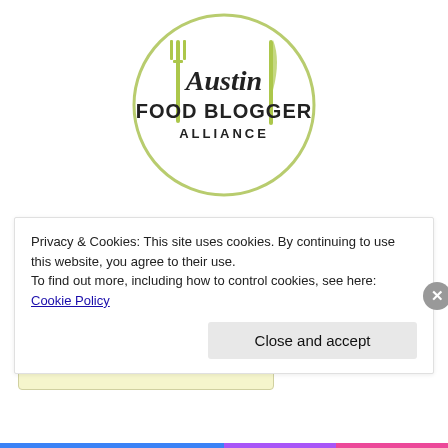[Figure (logo): Austin Food Blogger Alliance 2013 Member logo with fork and knife icons in a circle with light green outline]
2013 MEMBER
Yelp Reviews
[Figure (screenshot): Yelp widget showing 'Recent reviews by Michelann Q. What's this?' on a light yellow background]
Privacy & Cookies: This site uses cookies. By continuing to use this website, you agree to their use.
To find out more, including how to control cookies, see here: Cookie Policy